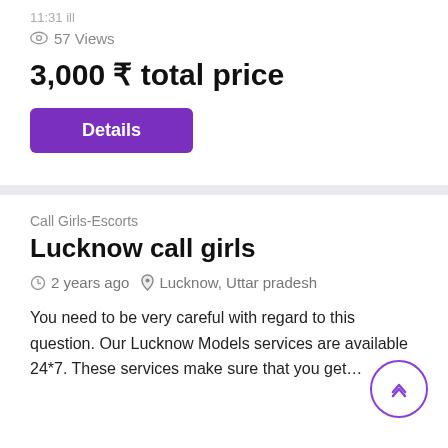57 Views
3,000 ₹ total price
Details
Call Girls-Escorts
Lucknow call girls
2 years ago   Lucknow, Uttar pradesh
You need to be very careful with regard to this question. Our Lucknow Models services are available 24*7. These services make sure that you get…